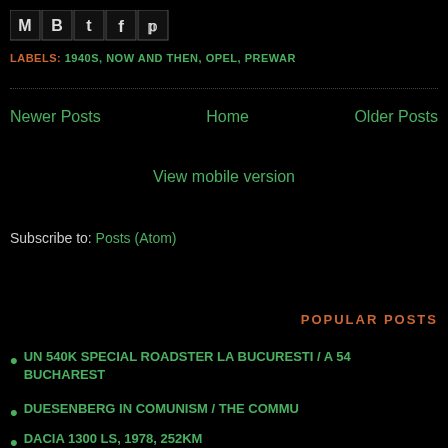[Figure (other): Social sharing icons: Gmail, Blogger, Twitter, Facebook, Pinterest]
LABELS: 1940S, NOW AND THEN, OPEL, PREWAR
Newer Posts    Home    Older Posts
View mobile version
Subscribe to: Posts (Atom)
POPULAR POSTS
UN 540K SPECIAL ROADSTER LA BUCURESTI / A 540K SPECIAL ROADSTER IN BUCHAREST
DUESENBERG IN COMUNISM / THE COMMU...
DACIA 1300 LS, 1978, 252KM...